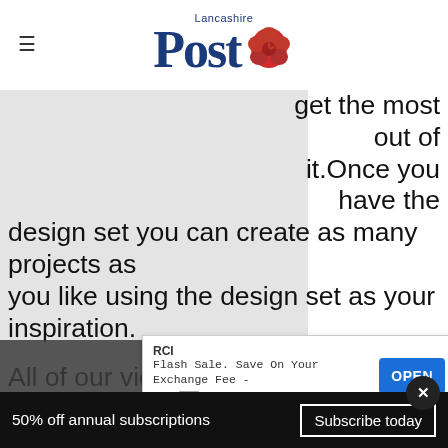Lancashire Post
[Figure (photo): Partially visible image obscured by overlapping text, grey placeholder rectangle on left side]
get the most out of it.Once you have the design set you can create as many projects as you like using the design set as your inspiration.

All of our videos can be found on our youtube chan[nel at] https[://...] well
[Figure (screenshot): RCI advertisement overlay: Flash Sale. Save On Your Exchange Fee - Now, with OPEN button]
50% off annual subscriptions  Subscribe today